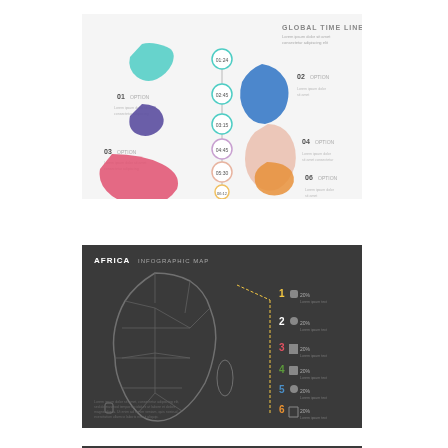[Figure (infographic): Global Time Line infographic with world continent silhouettes (green North America, blue South America, purple Europe, pink/red Asia, teal-outlined Africa, orange Australia) arranged along a central vertical timeline with circular nodes labeled 01-06 OPTION. Title reads 'GLOBAL TIME LINE' in top right.]
[Figure (map): Africa Infographic Map on dark charcoal background. Shows outline map of Africa with country borders in white/grey lines. Right side shows 6 numbered items (1-6) with colored icons and small text labels. Yellow dashed line connects map to legend items. Title reads 'AFRICA INFOGRAPHIC MAP' in top left. Small text block in lower left.]
[Figure (infographic): Partial view of a third infographic at the bottom edge of the page, dark background, partially cropped.]